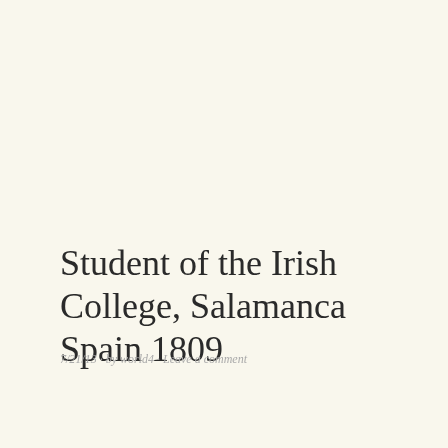Student of the Irish College, Salamanca Spain 1809
7/21/13 · by world4 · Leave a comment